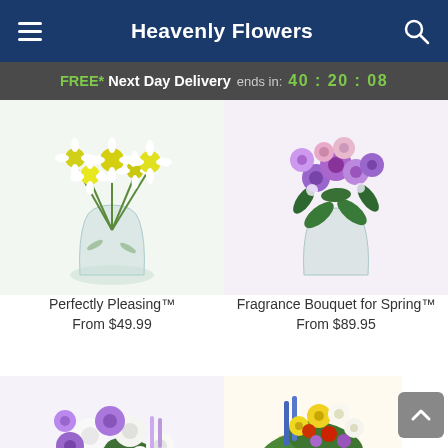Heavenly Flowers
FREE* Next Day Delivery ends in: 40:20:08
[Figure (photo): White daisy bouquet in a round clear glass vase]
Perfectly Pleasing™
From $49.99
[Figure (photo): Purple and pink flower bouquet with green leaves in a clear glass vase]
Fragrance Bouquet for Spring™
From $89.95
[Figure (photo): Mixed purple and white flower arrangement with roses, gerberas and lavender]
[Figure (photo): Colorful bouquet with blue, yellow, red and white flowers wrapped in yellow paper]